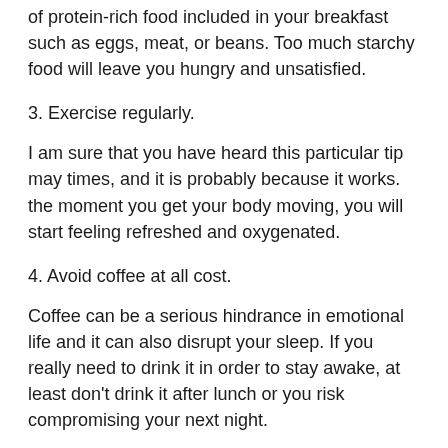of protein-rich food included in your breakfast such as eggs, meat, or beans. Too much starchy food will leave you hungry and unsatisfied.
3. Exercise regularly.
I am sure that you have heard this particular tip may times, and it is probably because it works. the moment you get your body moving, you will start feeling refreshed and oxygenated.
4. Avoid coffee at all cost.
Coffee can be a serious hindrance in emotional life and it can also disrupt your sleep. If you really need to drink it in order to stay awake, at least don’t drink it after lunch or you risk compromising your next night.